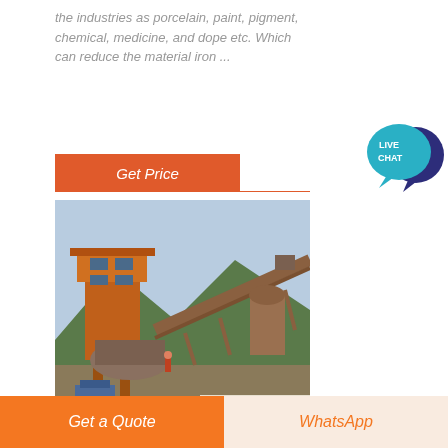the industries as porcelain, paint, pigment, chemical, medicine, and dope etc. Which can reduce the material iron ...
[Figure (other): Button labeled Get Price on orange background with horizontal divider line]
[Figure (photo): Industrial mining or processing plant with tall orange metal structure/tower, conveyor belts, and mountain background]
[Figure (other): Live Chat speech bubble icon in teal and dark blue]
[Figure (other): Bottom bar with two buttons: Get a Quote (orange) and WhatsApp (light peach with orange text)]